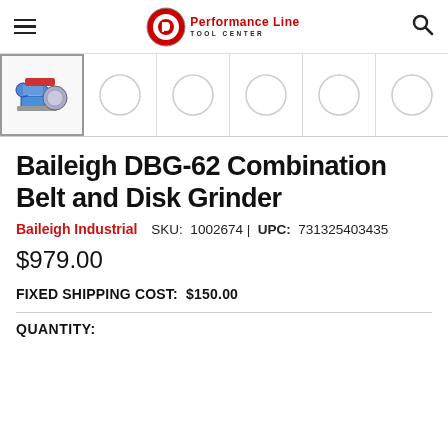Performance Line Tool Center
[Figure (photo): Product thumbnail images row showing belt and disk grinder; first thumbnail is active with a product photo, remaining five thumbnails show placeholder circle images]
Baileigh DBG-62 Combination Belt and Disk Grinder
Baileigh Industrial   SKU: 1002674 | UPC: 731325403435
$979.00
FIXED SHIPPING COST:  $150.00
QUANTITY: